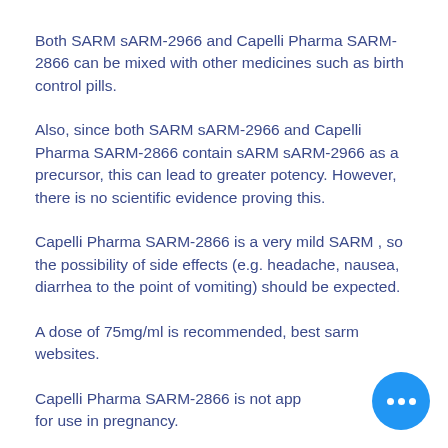Both SARM sARM-2966 and Capelli Pharma SARM-2866 can be mixed with other medicines such as birth control pills.
Also, since both SARM sARM-2966 and Capelli Pharma SARM-2866 contain sARM sARM-2966 as a precursor, this can lead to greater potency. However, there is no scientific evidence proving this.
Capelli Pharma SARM-2866 is a very mild SARM , so the possibility of side effects (e.g. headache, nausea, diarrhea to the point of vomiting) should be expected.
A dose of 75mg/ml is recommended, best sarm websites.
Capelli Pharma SARM-2866 is not approved for use in pregnancy.
[Figure (other): Blue circular chat button with three white dots]